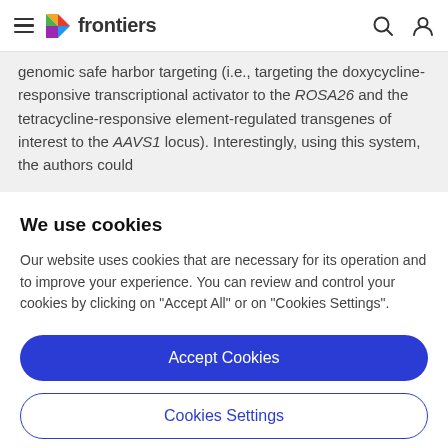frontiers
genomic safe harbor targeting (i.e., targeting the doxycycline-responsive transcriptional activator to the ROSA26 and the tetracycline-responsive element-regulated transgenes of interest to the AAVS1 locus). Interestingly, using this system, the authors could
We use cookies
Our website uses cookies that are necessary for its operation and to improve your experience. You can review and control your cookies by clicking on "Accept All" or on "Cookies Settings".
Accept Cookies
Cookies Settings